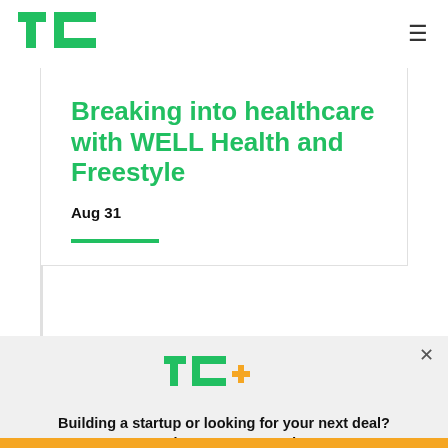TechCrunch
Breaking into healthcare with WELL Health and Freestyle
Aug 31
[Figure (logo): TechCrunch TC+ logo with green styling and plus sign]
Building a startup or looking for your next deal? We have you covered.
EXPLORE NOW